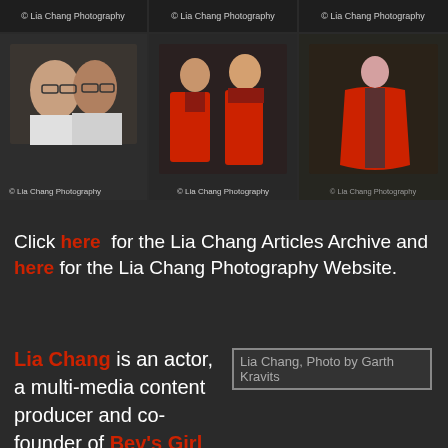[Figure (photo): 3x2 grid of event photos with Lia Chang Photography watermarks. Top row: three event photos with watermarks. Bottom row: left photo shows two people with glasses smiling, middle shows two women in red outfits, right shows woman in red cloak costume.]
Click here for the Lia Chang Articles Archive and here for the Lia Chang Photography Website.
Lia Chang is an actor, a multi-media content producer and co-founder of Bev's Girl Films, making films that foster inclusion and
[Figure (photo): Lia Chang, Photo by Garth Kravits]